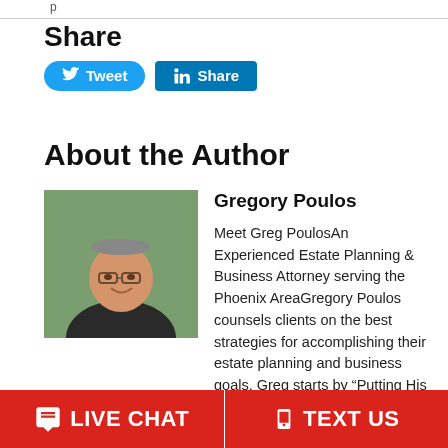Share
[Figure (other): Tweet button (Twitter/X blue rounded button) and LinkedIn Share button]
About the Author
[Figure (photo): Photo of Gregory Poulos, a smiling middle-aged man with glasses]
Gregory Poulos
Meet Greg PoulosAn Experienced Estate Planning & Business Attorney serving the Phoenix AreaGregory Poulos counsels clients on the best strategies for accomplishing their estate planning and business goals. Greg starts by “Putting His Clients at Legal Ease” so that they
LIVE CHAT   TEXT US